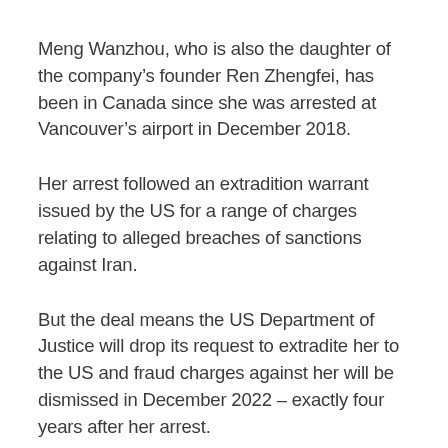Meng Wanzhou, who is also the daughter of the company’s founder Ren Zhengfei, has been in Canada since she was arrested at Vancouver’s airport in December 2018.
Her arrest followed an extradition warrant issued by the US for a range of charges relating to alleged breaches of sanctions against Iran.
But the deal means the US Department of Justice will drop its request to extradite her to the US and fraud charges against her will be dismissed in December 2022 – exactly four years after her arrest.
This will depend on her complying with certain conditions, including accepting responsibility for misrepresenting her